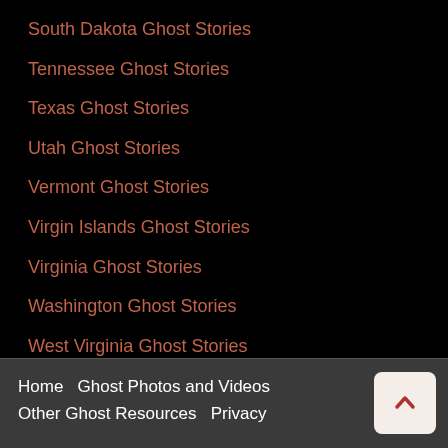South Dakota Ghost Stories
Tennessee Ghost Stories
Texas Ghost Stories
Utah Ghost Stories
Vermont Ghost Stories
Virgin Islands Ghost Stories
Virginia Ghost Stories
Washington Ghost Stories
West Virginia Ghost Stories
Wisconsin Ghost Stories
Wyoming Ghost Stories
Home   Ghost Photos and Videos   Other Ghost Resources   Privacy